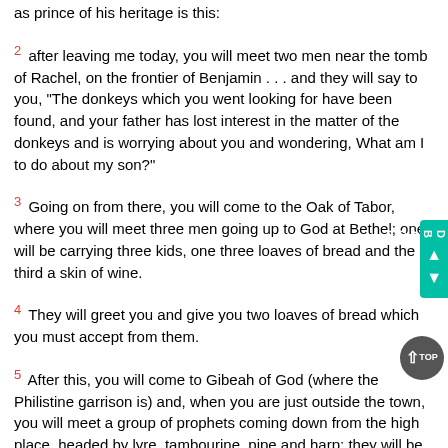as prince of his heritage is this:
2 after leaving me today, you will meet two men near the tomb of Rachel, on the frontier of Benjamin . . . and they will say to you, "The donkeys which you went looking for have been found, and your father has lost interest in the matter of the donkeys and is worrying about you and wondering, What am I to do about my son?"
3 Going on from there, you will come to the Oak of Tabor, where you will meet three men going up to God at Bethel; one will be carrying three kids, one three loaves of bread and the third a skin of wine.
4 They will greet you and give you two loaves of bread which you must accept from them.
5 After this, you will come to Gibeah of God (where the Philistine garrison is) and, when you are just outside the town, you will meet a group of prophets coming down from the high place, headed by lyre, tambourine, pipe and harp; they will be in a state of ecstasy.
6 The spirit of Yahweh will then seize on you, and you will go into ecstasy with them, and be changed into another man.
7 When these signs have occurred, act as occasion serves, for God is with you.